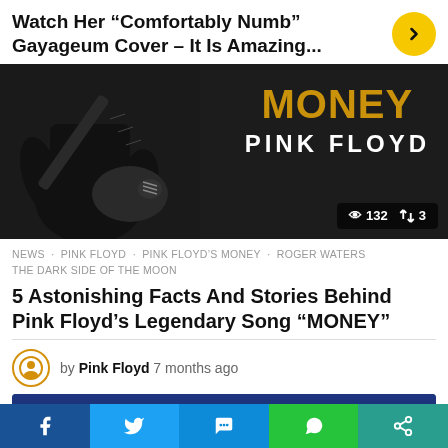Watch Her “Comfortably Numb” Gayageum Cover – It Is Amazing...
[Figure (photo): Black and white photo of guitarist playing guitar on the left, with MONEY Pink Floyd text in gold and white on the right against dark background. Stats overlay shows 132 views and 3 shares.]
NEWS · PINK FLOYD · PINK FLOYD’S MONEY · ROGER WATERS · THE DARK SIDE OF THE MOON
5 Astonishing Facts And Stories Behind Pink Floyd’s Legendary Song “MONEY”
by Pink Floyd 7 months ago
[Figure (photo): Concert photo showing a bald man from behind against blue stage lighting with amplifier equipment visible in background. Partial yellow circle visible at bottom right.]
Facebook Twitter Messenger WhatsApp Share